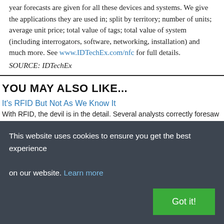year forecasts are given for all these devices and systems. We give the applications they are used in; split by territory; number of units; average unit price; total value of tags; total value of system (including interrogators, software, networking, installation) and much more. See www.IDTechEx.com/nfc for full details.
SOURCE: IDTechEx
YOU MAY ALSO LIKE...
It's RFID But Not As We Know It
With RFID, the devil is in the detail. Several analysts correctly foresaw the
This website uses cookies to ensure you get the best experience on our website. Learn more
Got it!